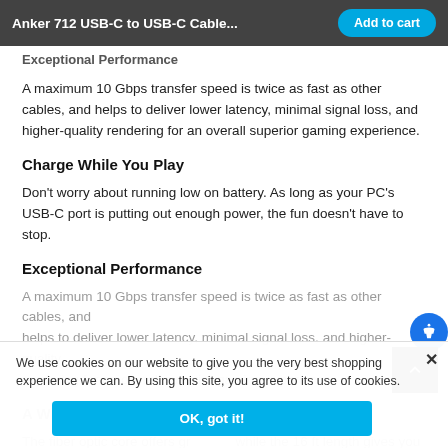Anker 712 USB-C to USB-C Cable... | Add to cart
Exceptional Performance
A maximum 10 Gbps transfer speed is twice as fast as other cables, and helps to deliver lower latency, minimal signal loss, and higher-quality rendering for an overall superior gaming experience.
Charge While You Play
Don't worry about running low on battery. As long as your PC's USB-C port is putting out enough power, the fun doesn't have to stop.
Exceptional Performance
A maximum 10 Gbps transfer speed is twice as fast as other cables, and helps to deliver lower latency, minimal signal loss, and higher-quality rendering for an overall superior gaming experience.
A Winning Combination
The fiber optic core offers gr... while the 16 ft length gives you the range you need to get the most out of every game.
We use cookies on our website to give you the very best shopping experience we can. By using this site, you agree to its use of cookies.